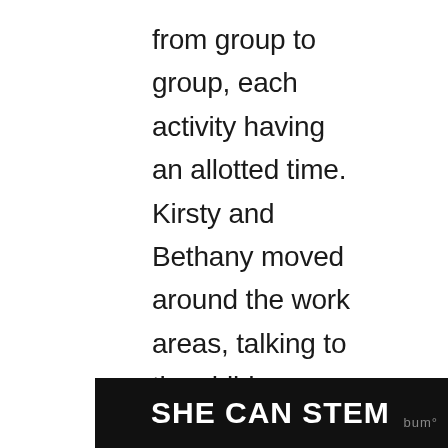from group to group, each activity having an allotted time. Kirsty and Bethany moved around the work areas, talking to the children, advising them, working with them for a while to consolidate new skills, praising their achievements and recording the activities with photographs and notes. Afterwards they controlled a session of verbal feedback and handed out certificates, which they had designed
SHE CAN STEM